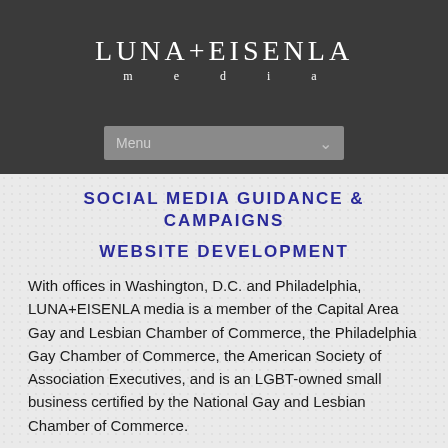LUNA+EISENLA media
SOCIAL MEDIA GUIDANCE & CAMPAIGNS
WEBSITE DEVELOPMENT
With offices in Washington, D.C. and Philadelphia, LUNA+EISENLA media is a member of the Capital Area Gay and Lesbian Chamber of Commerce, the Philadelphia Gay Chamber of Commerce, the American Society of Association Executives, and is an LGBT-owned small business certified by the National Gay and Lesbian Chamber of Commerce.